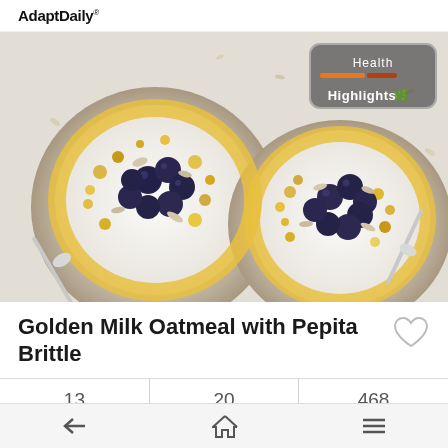AdaptDaily®
[Figure (photo): Two bowls of golden milk oatmeal topped with blueberries, pumpkin seeds, and almonds, with spoons, overhead view on white linen background. Health Highlights badge in top right corner.]
Golden Milk Oatmeal with Pepita Brittle
| 13 | 20 | 468 |
| --- | --- | --- |
| Ingredients | Minutes | Calories |